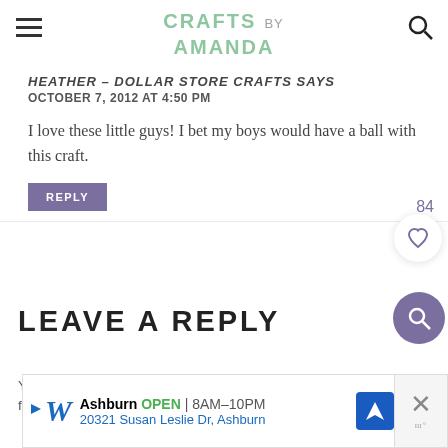CRAFTS BY AMANDA — EASY CRAFT IDEAS FOR KIDS AND ADULTS
HEATHER - DOLLAR STORE CRAFTS SAYS
OCTOBER 7, 2012 AT 4:50 PM

I love these little guys! I bet my boys would have a ball with this craft.
LEAVE A REPLY
Your email address will not be published. Required fields